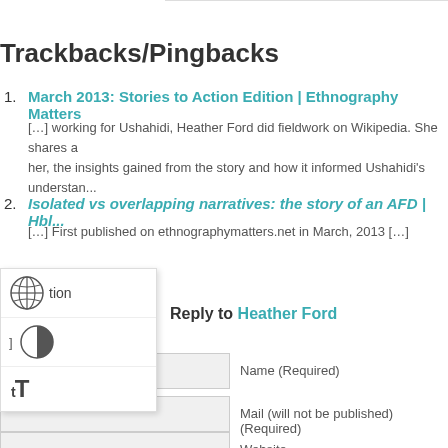Trackbacks/Pingbacks
March 2013: Stories to Action Edition | Ethnography Matters
[…] working for Ushahidi, Heather Ford did fieldwork on Wikipedia. She shares a her, the insights gained from the story and how it informed Ushahidi's understan...
Isolated vs overlapping narratives: the story of an AFD | Hbl...
[…] First published on ethnographymatters.net in March, 2013 […]
Leave a Reply to Heather Ford
Click here to cancel reply.
Name (Required)
Mail (will not be published) (Required)
Website